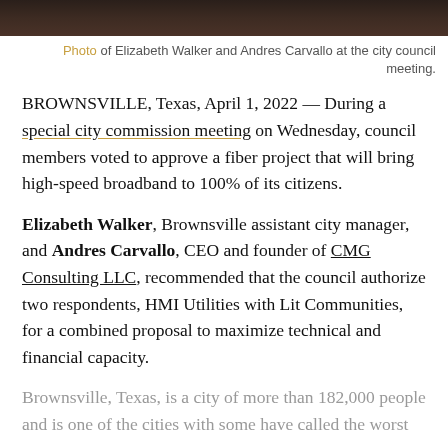[Figure (photo): Dark brown photo of Elizabeth Walker and Andres Carvallo at the city council meeting (top banner image).]
Photo of Elizabeth Walker and Andres Carvallo at the city council meeting.
BROWNSVILLE, Texas, April 1, 2022 — During a special city commission meeting on Wednesday, council members voted to approve a fiber project that will bring high-speed broadband to 100% of its citizens.
Elizabeth Walker, Brownsville assistant city manager, and Andres Carvallo, CEO and founder of CMG Consulting LLC, recommended that the council authorize two respondents, HMI Utilities with Lit Communities, for a combined proposal to maximize technical and financial capacity.
Brownsville, Texas, is a city of more than 182,000 people and is one of the cities with some have called the worst
CONTINUE READING